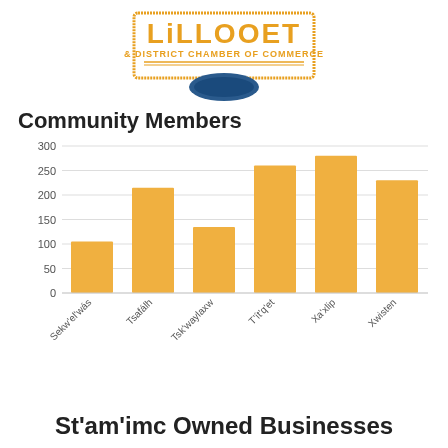[Figure (logo): Lillooet & District Chamber of Commerce logo - orange text with blue ribbon element]
Community Members
[Figure (bar-chart): Community Members]
St'am'imc Owned Businesses